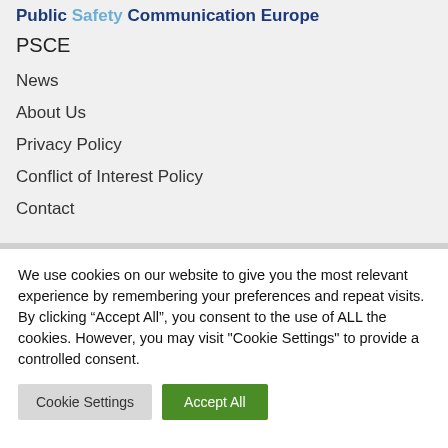Public Safety Communication Europe
PSCE
News
About Us
Privacy Policy
Conflict of Interest Policy
Contact
We use cookies on our website to give you the most relevant experience by remembering your preferences and repeat visits. By clicking “Accept All”, you consent to the use of ALL the cookies. However, you may visit "Cookie Settings" to provide a controlled consent.
Cookie Settings | Accept All